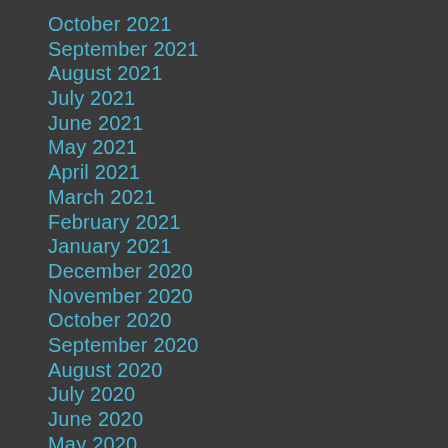October 2021
September 2021
August 2021
July 2021
June 2021
May 2021
April 2021
March 2021
February 2021
January 2021
December 2020
November 2020
October 2020
September 2020
August 2020
July 2020
June 2020
May 2020
April 2020
March 2020
February 2020
January 2020